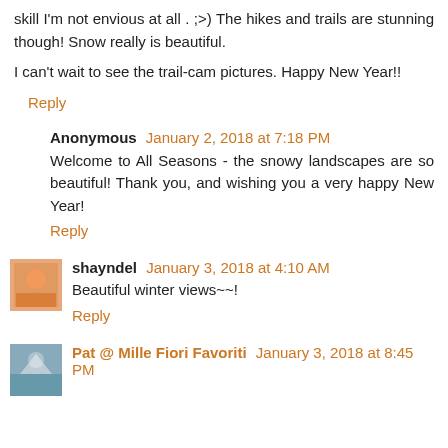skill I'm not envious at all . ;>) The hikes and trails are stunning though! Snow really is beautiful.
I can't wait to see the trail-cam pictures. Happy New Year!!
Reply
Anonymous January 2, 2018 at 7:18 PM
Welcome to All Seasons - the snowy landscapes are so beautiful! Thank you, and wishing you a very happy New Year!
Reply
shayndel January 3, 2018 at 4:10 AM
Beautiful winter views~~!
Reply
Pat @ Mille Fiori Favoriti January 3, 2018 at 8:45 PM